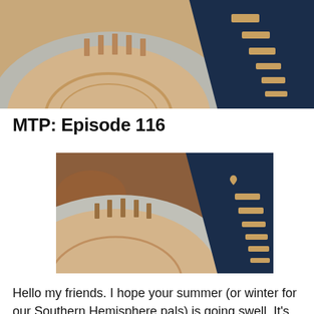[Figure (photo): Close-up photo of a decorative clock or sundial face with Roman numerals on a light tan/cream surface, with a dark navy blue triangular element featuring cutout shapes, shot at a shallow depth of field]
MTP: Episode 116
[Figure (photo): Close-up photo of the same decorative clock or sundial face with Roman numerals, with a dark navy blue triangular section featuring a small heart cutout and other rectangular cutouts, warm brown bokeh background]
Hello my friends. I hope your summer (or winter for our Southern Hemisphere pals) is going swell. It's been a little